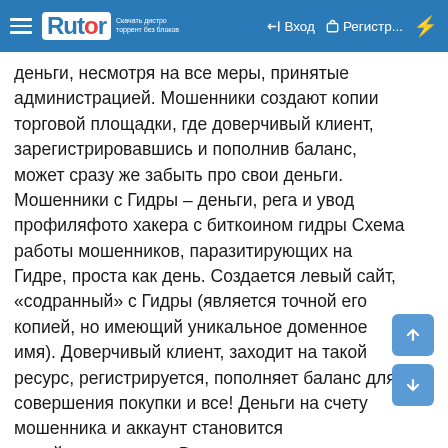Rutor — Вход — Регистр...
деньги, несмотря на все меры, принятые администрацией. Мошенники создают копии торговой площадки, где доверчивый клиент, зарегистрировавшись и пополнив баланс, может сразу же забыть про свои деньги. Мошенники с Гидры – деньги, рега и увод профиляфото хакера с биткоином гидры Схема работы мошенников, паразитирующих на Гидре, проста как день. Создается левый сайт, «содранный» с Гидры (является точной его копией, но имеющий уникальное доменное имя). Доверчивый клиент, заходит на такой ресурс, регистрируется, пополняет баланс для совершения покупки и все! Деньги на счету мошенника и аккаунт становится недействительным. Вторая и не менее популярная схема – кража аккаунтов. Используя зеркала Гидры (которые предоставлены мошенниками), клиент вводит свой логин и пароль для входа. Злоумышленники копируют персональную информацию клиента, входят самостоятельно с его логином и паролем, а его, в свою очередь, система «кикает» и он не может попасть на сайт.